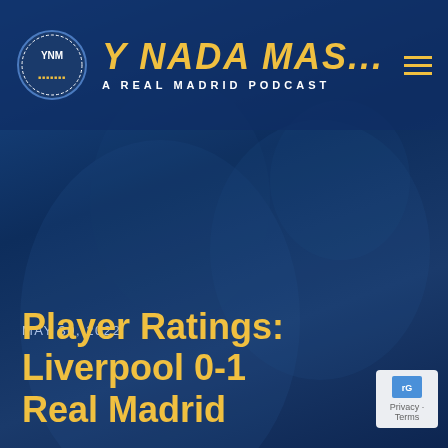[Figure (logo): Y Nada Mas - A Real Madrid Podcast logo with circular badge and stylized yellow text on blue background]
MAY 30, 2022
Player Ratings: Liverpool 0-1 Real Madrid